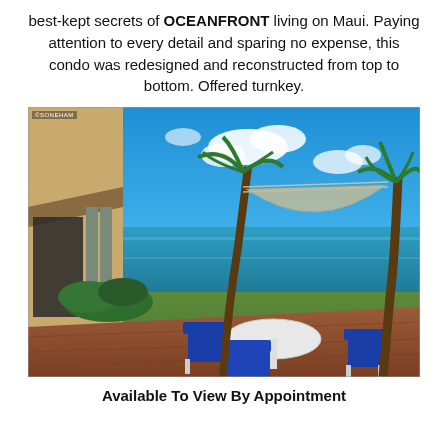best-kept secrets of OCEANFRONT living on Maui. Paying attention to every detail and sparing no expense, this condo was redesigned and reconstructed from top to bottom. Offered turnkey.
[Figure (photo): Outdoor patio with blue chairs and a white table overlooking the ocean. A hammock is strung between two palm trees on a green lawn beside the ocean.]
Available To View By Appointment